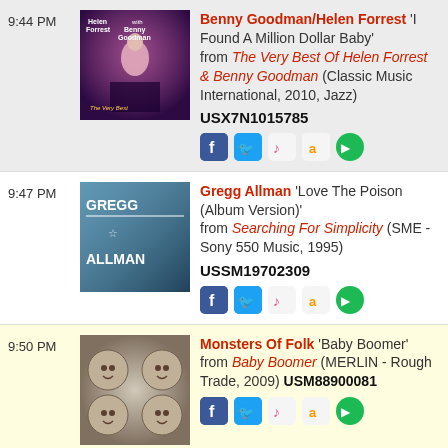9:44 PM — Benny Goodman/Helen Forrest 'I Found A Million Dollar Baby' from The Very Best Of Helen Forrest & Benny Goodman (Classic Music International, 2010, Jazz) USX7N1015785
9:47 PM — Gregg Allman 'Love The Poison (Album Version)' from Searching For Simplicity (SME - Sony 550 Music, 1995) USSM19702309
9:50 PM — Monsters Of Folk 'Baby Boomer' from Baby Boomer (MERLIN - Rough Trade, 2009) USM88900081